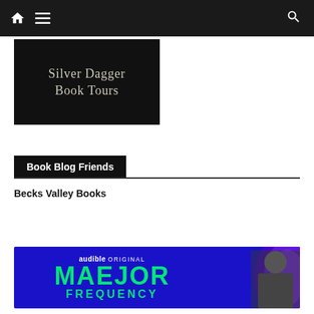Navigation bar with home icon, menu icon, and search icon
[Figure (logo): Silver Dagger Book Tours logo — white serif text on black background]
Book Blog Friends
Becks Valley Books
[Figure (infographic): Audible Original advertisement banner: MAEJOR FREQUENCY in large green text on dark blue background with purple swirl and person silhouette]